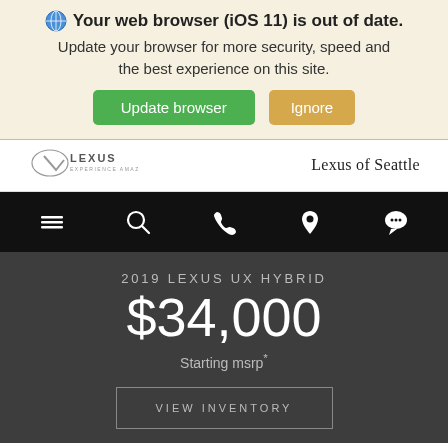Your web browser (iOS 11) is out of date. Update your browser for more security, speed and the best experience on this site. Update browser  Ignore
[Figure (logo): Lexus logo with tagline 'EXPERIENCE AMAZING']
Lexus of Seattle
[Figure (screenshot): Navigation bar with hamburger menu, search, phone, location, and chat icons on black background]
2019 LEXUS UX HYBRID
$34,000
Starting msrp*
VIEW INVENTORY